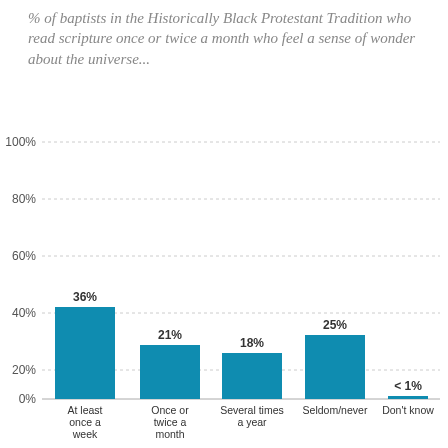% of baptists in the Historically Black Protestant Tradition who read scripture once or twice a month who feel a sense of wonder about the universe...
[Figure (bar-chart): % of baptists in the Historically Black Protestant Tradition who read scripture once or twice a month who feel a sense of wonder about the universe...]